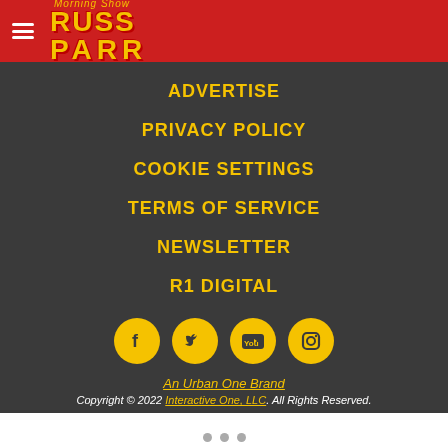Russ Parr Morning Show
ADVERTISE
PRIVACY POLICY
COOKIE SETTINGS
TERMS OF SERVICE
NEWSLETTER
R1 DIGITAL
[Figure (illustration): Social media icons row: Facebook, Twitter, YouTube, Instagram — yellow circles on dark background]
An Urban One Brand
Copyright © 2022 Interactive One, LLC. All Rights Reserved.